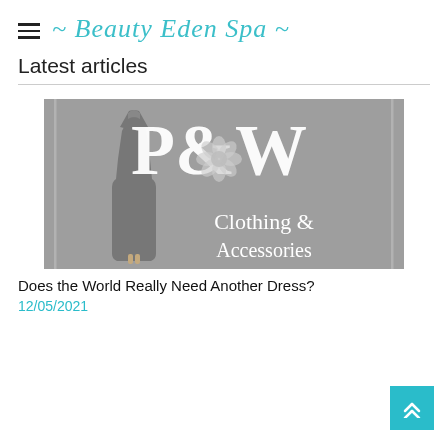~ Beauty Eden Spa ~
Latest articles
[Figure (logo): P&W Clothing & Accessories logo with a dress silhouette and floral emblem on a grey background]
Does the World Really Need Another Dress?
12/05/2021